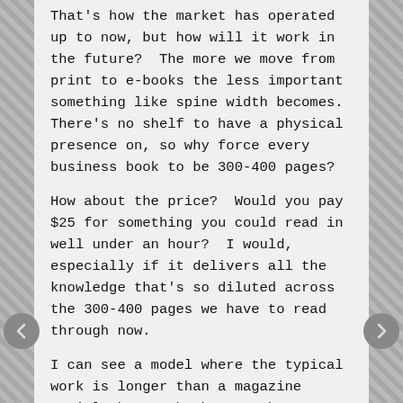That's how the market has operated up to now, but how will it work in the future?  The more we move from print to e-books the less important something like spine width becomes.  There's no shelf to have a physical presence on, so why force every business book to be 300-400 pages?
How about the price?  Would you pay $25 for something you could read in well under an hour?  I would, especially if it delivers all the knowledge that's so diluted across the 300-400 pages we have to read through now.
I can see a model where the typical work is longer than a magazine article but much shorter than a book.  In fact, I think that's the sweet spot for the future.  A magazine article (2-3